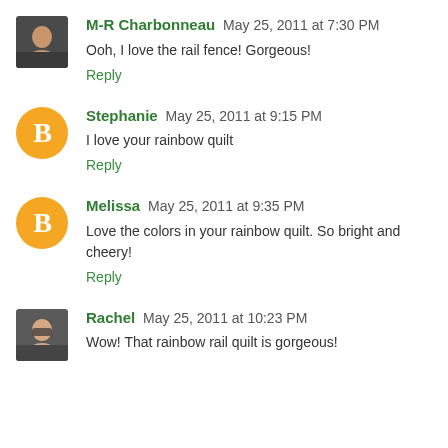M-R Charbonneau May 25, 2011 at 7:30 PM
Ooh, I love the rail fence! Gorgeous!
Reply
Stephanie May 25, 2011 at 9:15 PM
I love your rainbow quilt
Reply
Melissa May 25, 2011 at 9:35 PM
Love the colors in your rainbow quilt. So bright and cheery!
Reply
Rachel May 25, 2011 at 10:23 PM
Wow! That rainbow rail quilt is gorgeous!